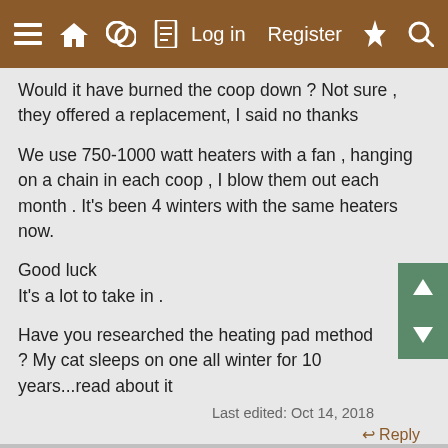≡ 🏠 💬 📄   Log in   Register  ⚡  🔍
Would it have burned the coop down ? Not sure , they offered a replacement, I said no thanks
We use 750-1000 watt heaters with a fan , hanging on a chain in each coop , I blow them out each month . It's been 4 winters with the same heaters now.
Good luck
It's a lot to take in .
Have you researched the heating pad method ? My cat sleeps on one all winter for 10 years...read about it
Last edited: Oct 14, 2018
↩ Reply
PrettyChickens15